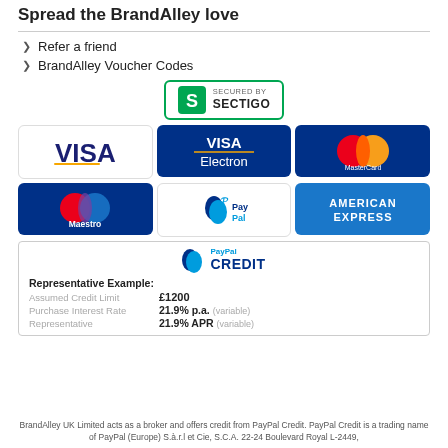Spread the BrandAlley love
Refer a friend
BrandAlley Voucher Codes
[Figure (logo): Secured by Sectigo badge with green border]
[Figure (logo): Payment method logos: VISA, VISA Electron, MasterCard, Maestro, PayPal, American Express]
[Figure (infographic): PayPal Credit section with representative example: Assumed Credit Limit £1200, Purchase Interest Rate 21.9% p.a. (variable), Representative 21.9% APR (variable)]
BrandAlley UK Limited acts as a broker and offers credit from PayPal Credit. PayPal Credit is a trading name of PayPal (Europe) S.à.r.l et Cie, S.C.A. 22-24 Boulevard Royal L-2449,